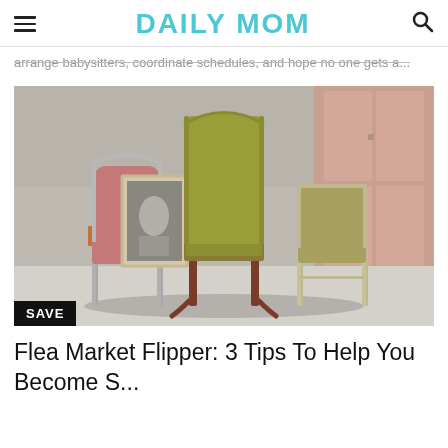DAILY MOM
arrange babysitters, coordinate schedules, and hope no one gets a...
[Figure (photo): Three vintage chairs grouped together against a weathered concrete wall near wooden doors: a pink folding chair on the left, a tall green upholstered chair in the center, and a smaller olive/tan folding chair on the right. A framed black-and-white photo leans against the left chair.]
Flea Market Flipper: 3 Tips To Help You Become S...